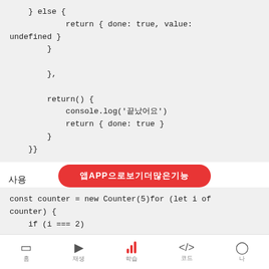} else {
            return { done: true, value:
undefined }
        }

        },

        return() {
            console.log('끝났어요')
            return { done: true }
        }
    }}
사용
const counter = new Counter(5)for (let i of
counter) {
    if (i === 2)
[Figure (screenshot): Red rounded button with Korean text '앱으로 보기/더 많은 기능']
홈  재생  학습  코드  나